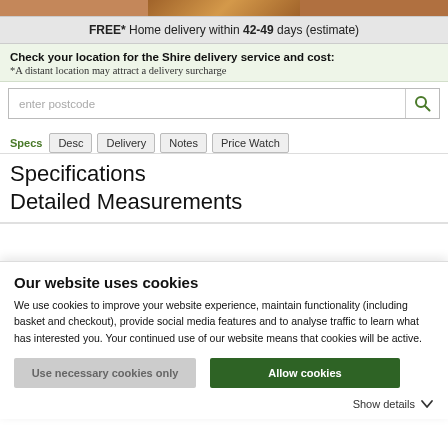[Figure (photo): Top banner with product images showing wooden shed/garden building]
FREE* Home delivery within 42-49 days (estimate)
Check your location for the Shire delivery service and cost: *A distant location may attract a delivery surcharge
enter postcode
Specs
Desc
Delivery
Notes
Price Watch
Specifications
Detailed Measurements
Our website uses cookies
We use cookies to improve your website experience, maintain functionality (including basket and checkout), provide social media features and to analyse traffic to learn what has interested you. Your continued use of our website means that cookies will be active.
Use necessary cookies only
Allow cookies
Show details